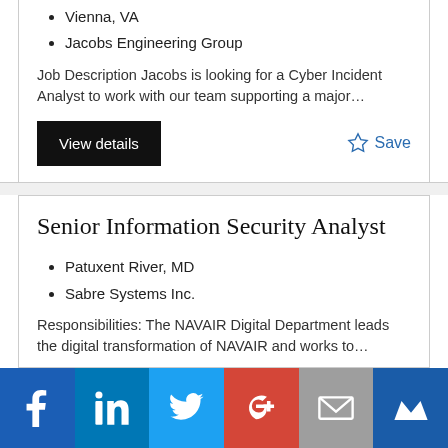Vienna, VA
Jacobs Engineering Group
Job Description Jacobs is looking for a Cyber Incident Analyst to work with our team supporting a major…
View details
Save
Senior Information Security Analyst
Patuxent River, MD
Sabre Systems Inc.
Responsibilities: The NAVAIR Digital Department leads the digital transformation of NAVAIR and works to…
[Figure (infographic): Social sharing bar with icons for Facebook, LinkedIn, Twitter, Google+, Email, and Mightybell/Crown]